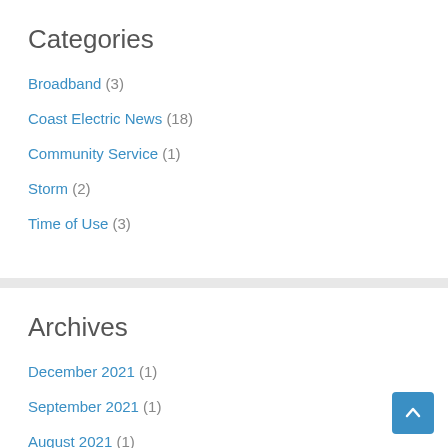Categories
Broadband (3)
Coast Electric News (18)
Community Service (1)
Storm (2)
Time of Use (3)
Archives
December 2021 (1)
September 2021 (1)
August 2021 (1)
July 2021 (1)